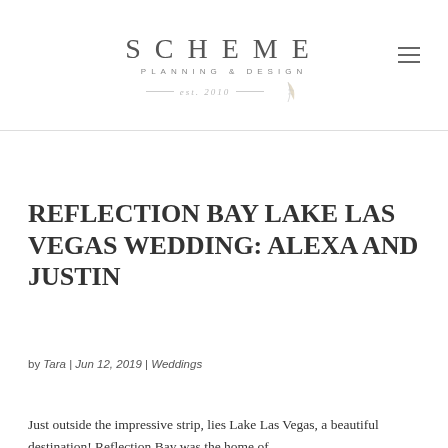SCHEME PLANNING & DESIGN est. 2010
REFLECTION BAY LAKE LAS VEGAS WEDDING: ALEXA AND JUSTIN
by Tara | Jun 12, 2019 | Weddings
Just outside the impressive strip, lies Lake Las Vegas, a beautiful destination! Reflection Bay was the home of Alexa and Justin's wedding. The intricate details...